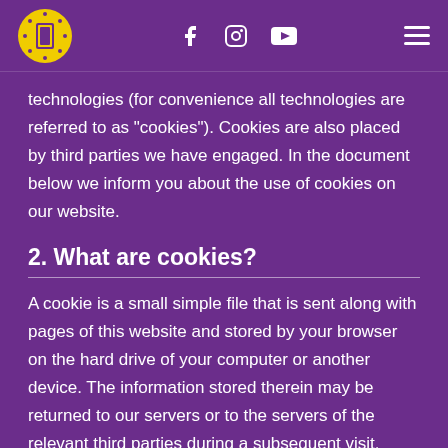Logo, Facebook, Instagram, YouTube, Menu
technologies (for convenience all technologies are referred to as "cookies"). Cookies are also placed by third parties we have engaged. In the document below we inform you about the use of cookies on our website.
2. What are cookies?
A cookie is a small simple file that is sent along with pages of this website and stored by your browser on the hard drive of your computer or another device. The information stored therein may be returned to our servers or to the servers of the relevant third parties during a subsequent visit.
3. What are scripts?